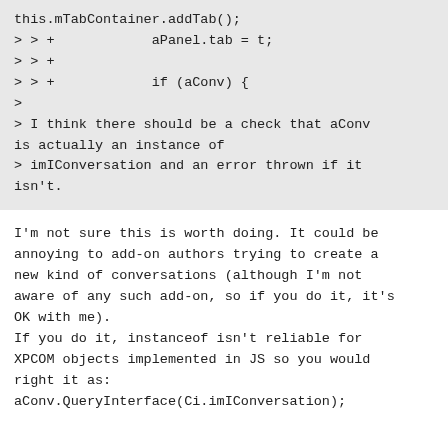this.mTabContainer.addTab();
> > +            aPanel.tab = t;
> > +
> > +            if (aConv) {
>
> I think there should be a check that aConv is actually an instance of
> imIConversation and an error thrown if it isn't.
I'm not sure this is worth doing. It could be annoying to add-on authors trying to create a new kind of conversations (although I'm not aware of any such add-on, so if you do it, it's OK with me).
If you do it, instanceof isn't reliable for XPCOM objects implemented in JS so you would right it as:
aConv.QueryInterface(Ci.imIConversation);